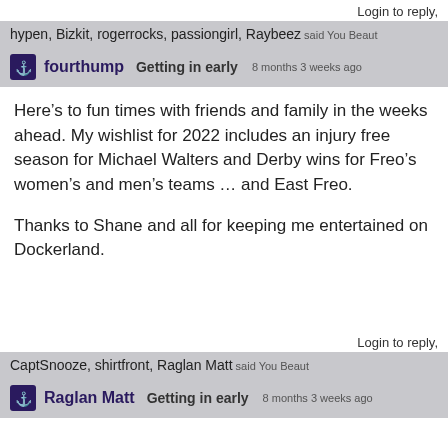Login to reply,
hypen, Bizkit, rogerrocks, passiongirl, Raybeez said You Beaut
fourthump   Getting in early   8 months 3 weeks ago
Here’s to fun times with friends and family in the weeks ahead. My wishlist for 2022 includes an injury free season for Michael Walters and Derby wins for Freo’s women’s and men’s teams … and East Freo.

Thanks to Shane and all for keeping me entertained on Dockerland.
Login to reply,
CaptSnooze, shirtfront, Raglan Matt said You Beaut
Raglan Matt   Getting in early   8 months 3 weeks ago